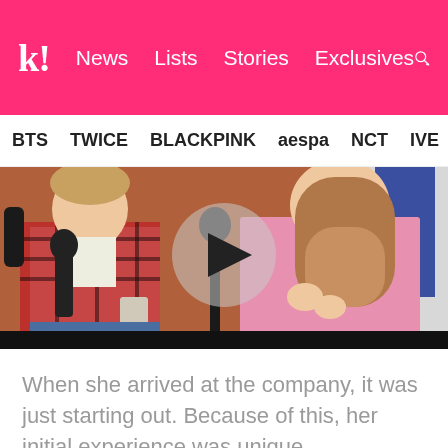k! | News | Lists | Stories | Exclusives
BTS  TWICE  BLACKPINK  aespa  NCT  IVE  SHINE
[Figure (screenshot): Video thumbnail showing two people seated with microphones, a play button overlay in the center]
When she arrived at the company, it was just starting out. Because of this, her initial experience was unique.
They treated me like family. In the beginning, we went out to eat and drink